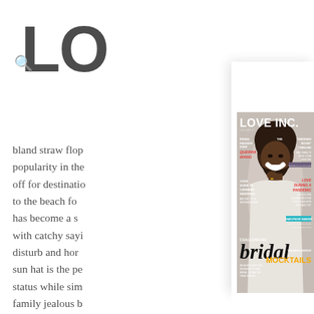LO
bland straw flop popularity in the off for destinatio to the beach fo has become a s with catchy sayi disturb and hor sun hat is the pe status while sim family jealous b some much ne these honeym perfect for bea course, don't fo
Get Our Latest Issue
[Figure (photo): LOVE INC. magazine cover featuring a smiling man with a natural hairstyle and beard, wearing a white top. Cover text includes: LOVE INC., VOLUME #7, RISING FASHION STAR QUERRA WANG, YOUR GUIDE TO CANNABIS WEDDINGS AND WHY IT'S A GROWING TREND, THE WEDDING BOOM TIMELINE AND WHEN TO BOOK YOUR VENDORS, LOVE DURING A PANDEMIC A COLLECTION CELEBRATING COVID COUPLES AND HOW THEY SAID I DO, TEAR-PROOF MAKEUP BEAUTY EXPERTS SHARE THEIR PRODUCT PICKS, CHALLENGING bridal BECAUSE EVERYONE DESERVES TO FEEL BRIDAL NO MATTER THEIR GENDER, WEDDING WORTHY MOCKTAILS]